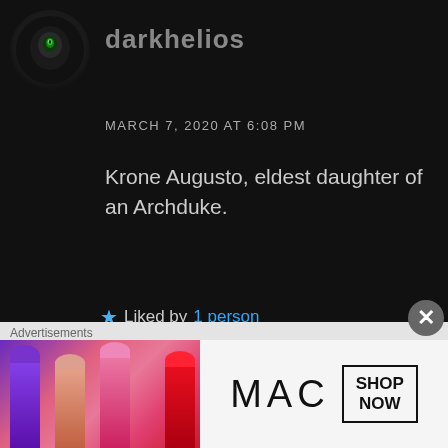[Figure (illustration): Circular avatar showing a black sphere with a glowing green eye, on dark background]
darkhelios
MARCH 7, 2020 AT 6:08 PM
Krone Augusto, eldest daughter of an Archduke.
★ Liked by 1 person
REPLY
[Figure (illustration): Circular avatar with a hand-drawn style bunny/rabbit character on white background]
geekdivaherself
Advertisements
[Figure (photo): MAC cosmetics advertisement banner showing colorful lipsticks (purple, pink, coral, red) and MAC logo with SHOP NOW button]